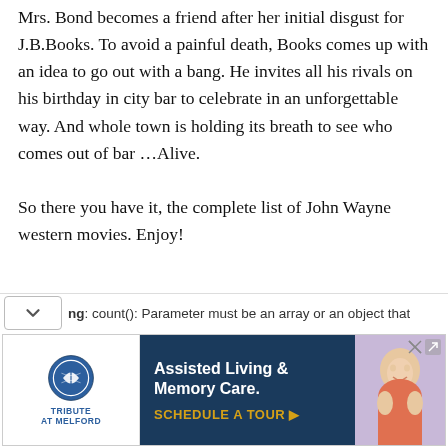Mrs. Bond becomes a friend after her initial disgust for J.B.Books. To avoid a painful death, Books comes up with an idea to go out with a bang. He invites all his rivals on his birthday in city bar to celebrate in an unforgettable way. And whole town is holding its breath to see who comes out of bar …Alive.

So there you have it, the complete list of John Wayne western movies. Enjoy!
ng: count(): Parameter must be an array or an object that
[Figure (other): Advertisement for Tribute at Melford: Assisted Living & Memory Care. Schedule a Tour. Shows logo with circular emblem and text, dark blue background with white headline and gold CTA text, with a photo of a smiling elderly woman.]